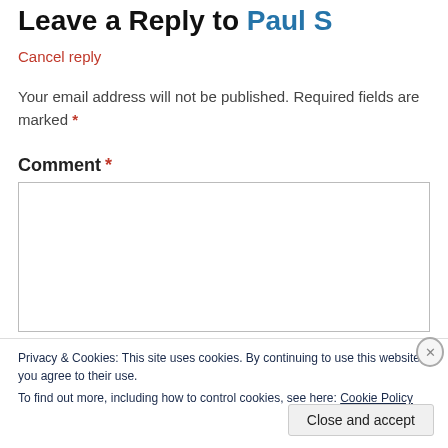Leave a Reply to Paul S
Cancel reply
Your email address will not be published. Required fields are marked *
Comment *
Privacy & Cookies: This site uses cookies. By continuing to use this website, you agree to their use.
To find out more, including how to control cookies, see here: Cookie Policy
Close and accept